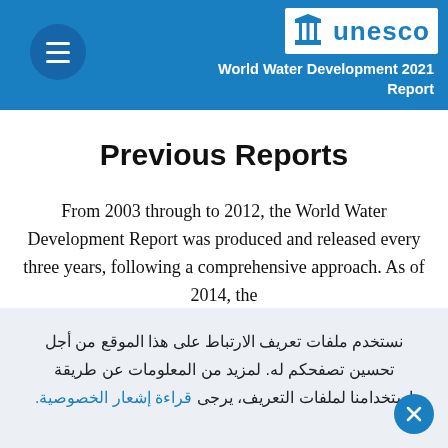World Water Development 2021 Report
Previous Reports
From 2003 through to 2012, the World Water Development Report was produced and released every three years, following a comprehensive approach. As of 2014, the
نستخدم ملفات تعريف الارتباط على هذا الموقع من أجل تحسين تصفحكم له. لمزيد من المعلومات عن طريقة استخدامنا لملفات التعريف، يرجى قراءة إشعار الخصوصية.